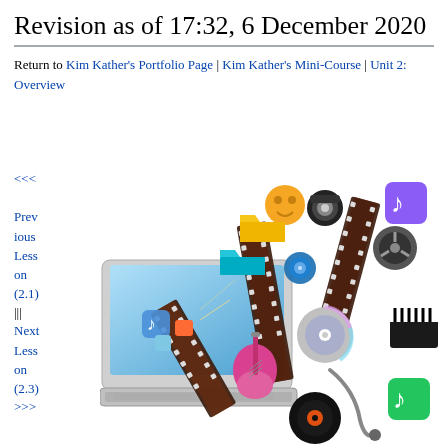Revision as of 17:32, 6 December 2020
Return to Kim Kather's Portfolio Page | Kim Kather's Mini-Course | Unit 2: Overview
<<< Previous Lesson (2.1) ||| Next Lesson (2.3) >>>
[Figure (illustration): Illustration of a laptop with multimedia items (film strips, music notes, camera, guitar, vinyl record, CD, headphone cable, and various app icons) flying out of the screen, representing multimedia content.]